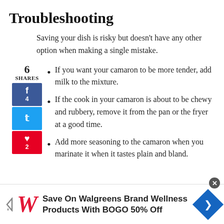Troubleshooting
Saving your dish is risky but doesn’t have any other option when making a single mistake.
If you want your camaron to be more tender, add milk to the mixture.
If the cook in your camaron is about to be chewy and rubbery, remove it from the pan or the fryer at a good time.
Add more seasoning to the camaron when you marinate it when it tastes plain and bland.
[Figure (other): Advertisement banner: Save On Walgreens Brand Wellness Products With BOGO 50% Off]